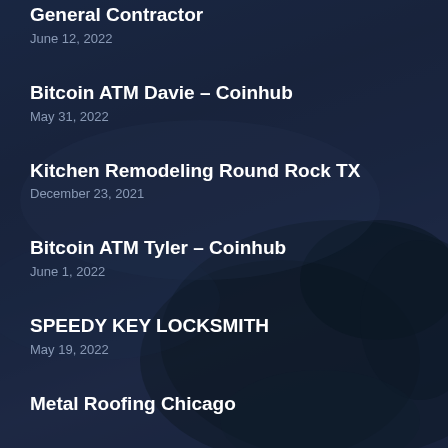General Contractor
June 12, 2022
Bitcoin ATM Davie – Coinhub
May 31, 2022
Kitchen Remodeling Round Rock TX
December 23, 2021
Bitcoin ATM Tyler – Coinhub
June 1, 2022
SPEEDY KEY LOCKSMITH
May 19, 2022
Metal Roofing Chicago